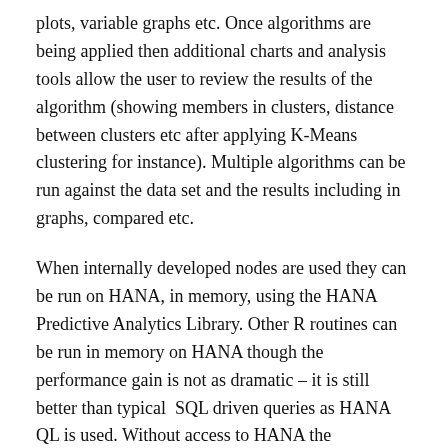plots, variable graphs etc. Once algorithms are being applied then additional charts and analysis tools allow the user to review the results of the algorithm (showing members in clusters, distance between clusters etc after applying K-Means clustering for instance). Multiple algorithms can be run against the data set and the results including in graphs, compared etc.
When internally developed nodes are used they can be run on HANA, in memory, using the HANA Predictive Analytics Library. Other R routines can be run in memory on HANA though the performance gain is not as dramatic – it is still better than typical  SQL driven queries as HANA QL is used. Without access to HANA the algorithms run locally or using a standard R server. The tool is currently limited to a specific set of R routines though SAP is extending this. In addition as new algorithms are added to the HANA libraries they are also being added to the tool.